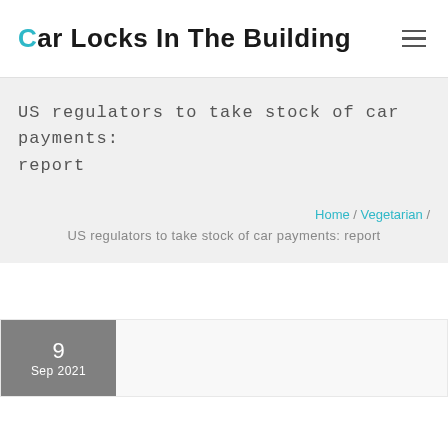Car Locks In The Building
US regulators to take stock of car payments: report
Home / Vegetarian / US regulators to take stock of car payments: report
9
Sep 2021